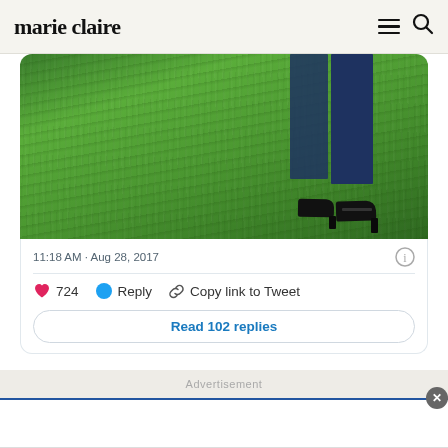marie claire
[Figure (screenshot): Bottom portion of a photo showing a person's legs in dark blue jeans and black platform heels/wedge shoes, standing on green grass. This is part of an embedded tweet on the Marie Claire website.]
11:18 AM · Aug 28, 2017
724   Reply   Copy link to Tweet
Read 102 replies
Advertisement